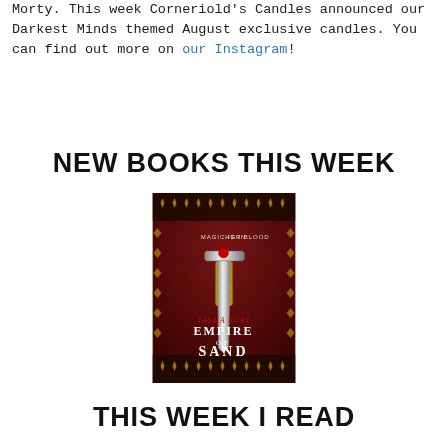Morty. This week Corneriold's Candles announced our Darkest Minds themed August exclusive candles. You can find out more on our Instagram!
NEW BOOKS THIS WEEK
[Figure (illustration): Book cover of 'Empire of Sand' by Tasha Suri. Shows an ornate dagger against a dark red background with golden decorative border patterns. Text reads 'MAGIC IS IN HER BLOOD' at top, 'TASHA SURI' in middle, 'EMPIRE OF SAND' in large letters at bottom.]
THIS WEEK I READ